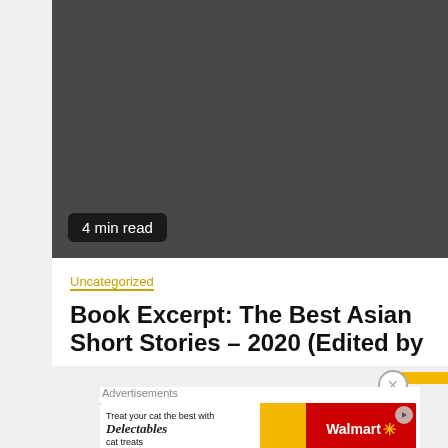[Figure (photo): Dark gray/charcoal colored image area filling the top portion of the page]
4 min read
Uncategorized
Book Excerpt: The Best Asian Short Stories – 2020 (Edited by
Advertisements
[Figure (illustration): Walmart advertisement banner: 'Treat your cat the best with Delectables cat treats' with cat image and Walmart logo on red background]